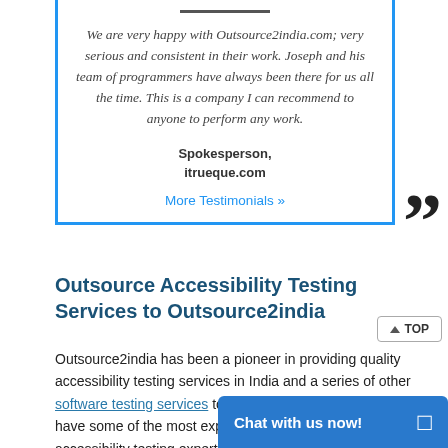We are very happy with Outsource2india.com; very serious and consistent in their work. Joseph and his team of programmers have always been there for us all the time. This is a company I can recommend to anyone to perform any work.
Spokesperson, itrueque.com
More Testimonials »
Outsource Accessibility Testing Services to Outsource2india
Outsource2india has been a pioneer in providing quality accessibility testing services in India and a series of other software testing services to clients around the world. We have some of the most experienced and talented accessibility testing experts on board who can take care of all your requirements with ease. We make use of the testing software and techr to clients
Chat with us now!